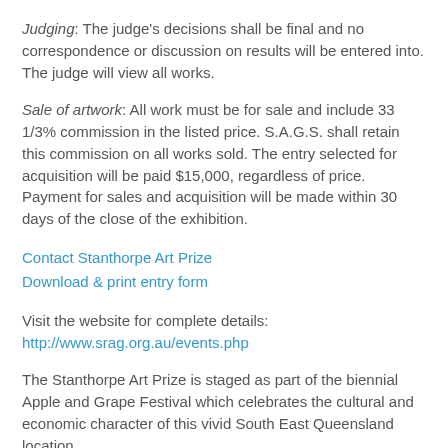Judging: The judge's decisions shall be final and no correspondence or discussion on results will be entered into. The judge will view all works.
Sale of artwork: All work must be for sale and include 33 1/3% commission in the listed price. S.A.G.S. shall retain this commission on all works sold. The entry selected for acquisition will be paid $15,000, regardless of price. Payment for sales and acquisition will be made within 30 days of the close of the exhibition.
Contact Stanthorpe Art Prize
Download & print entry form
Visit the website for complete details:
http://www.srag.org.au/events.php
The Stanthorpe Art Prize is staged as part of the biennial Apple and Grape Festival which celebrates the cultural and economic character of this vivid South East Queensland location.